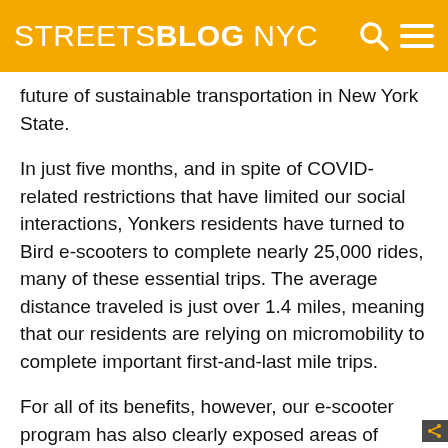STREETSBLOG NYC
future of sustainable transportation in New York State.
In just five months, and in spite of COVID-related restrictions that have limited our social interactions, Yonkers residents have turned to Bird e-scooters to complete nearly 25,000 rides, many of these essential trips. The average distance traveled is just over 1.4 miles, meaning that our residents are relying on micromobility to complete important first-and-last mile trips.
For all of its benefits, however, our e-scooter program has also clearly exposed areas of improvement that must be addressed if we're to make serious strides towards our ambitious sustainability and traffic